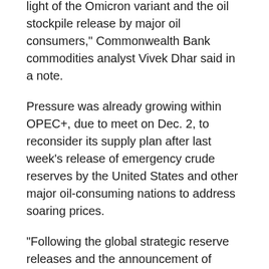light of the Omicron variant and the oil stockpile release by major oil consumers," Commonwealth Bank commodities analyst Vivek Dhar said in a note.
Pressure was already growing within OPEC+, due to meet on Dec. 2, to reconsider its supply plan after last week's release of emergency crude reserves by the United States and other major oil-consuming nations to address soaring prices.
"Following the global strategic reserve releases and the announcement of dozens of countries restricting travel... OPEC and its allies can easily justify an output halt or even a slight cut," OANDA analyst Edward Moya said in a note.
Still, Citi analysts expect OPEC+ to continue to add more barrels in January.
(Reporting by Noah Browning, Sonali Paul and Florence Tan; Editing by Lincoln Feast, Ana Nicolaci da Costa, Himani